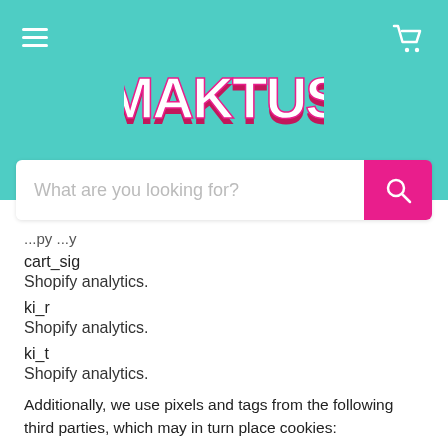[Figure (logo): MAKTUS logo in white and red/pink 3D text on teal/turquoise background header, with hamburger menu icon on the left and shopping cart icon on the right]
[Figure (screenshot): Search bar with placeholder text 'What are you looking for?' and a pink search button with magnifying glass icon]
...py ...y
cart_sig
Shopify analytics.
ki_r
Shopify analytics.
ki_t
Shopify analytics.
Additionally, we use pixels and tags from the following third parties, which may in turn place cookies:
Reporting & Analytics: